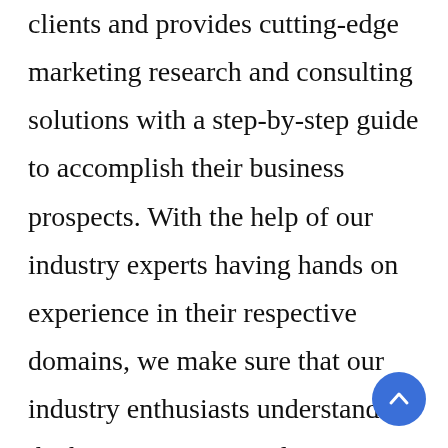clients and provides cutting-edge marketing research and consulting solutions with a step-by-step guide to accomplish their business prospects. With the help of our industry experts having hands on experience in their respective domains, we make sure that our industry enthusiasts understand all the business aspects relating to their projects, which further improves the consumer base and the size of their organization. We offer wide range of unique marketing research solutions ranging from customized and syndicated research reports to consulting services, out of which, we update our syndicated research reports annually to make sure that they are modified according to the latest and
[Figure (other): A circular blue scroll-to-top button with an upward-pointing chevron arrow icon, positioned at the bottom-right of the page.]